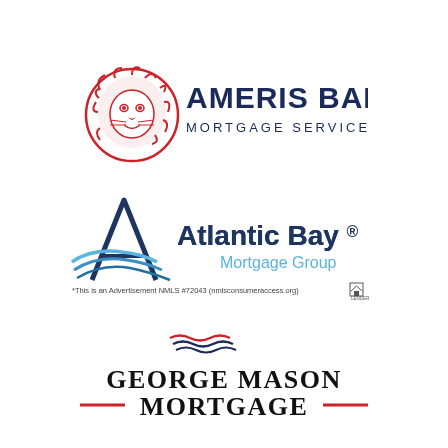[Figure (logo): Ameris Bank Mortgage Services logo with red lion head icon and dark navy text]
[Figure (logo): Atlantic Bay Mortgage Group logo with stylized A and wave marks, with disclaimer text: *This is an Advertisement. NMLS #72043 (nmlsconsumeraccess.org) and equal housing lender icon]
[Figure (logo): George Mason Mortgage logo with decorative wave/flag icon above and red dashes on either side of MORTGAGE text]